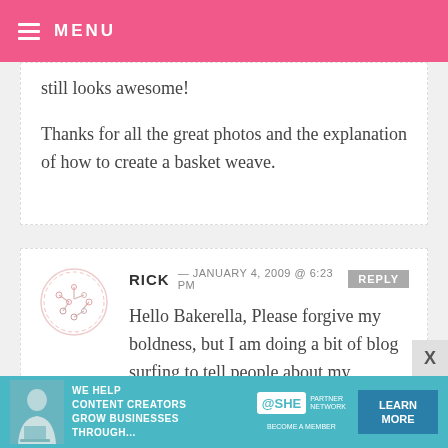MENU
still looks awesome!
Thanks for all the great photos and the explanation of how to create a basket weave.
RICK — JANUARY 4, 2009 @ 6:23 PM  REPLY
Hello Bakerella, Please forgive my boldness, but I am doing a bit of blog surfing to tell people about my